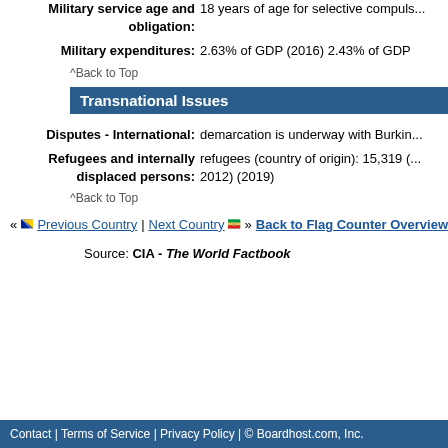Military service age and obligation: 18 years of age for selective compuls...
Military expenditures: 2.63% of GDP (2016) 2.43% of GDP
^Back to Top
Transnational Issues
Disputes - International: demarcation is underway with Burkin...
Refugees and internally displaced persons: refugees (country of origin): 15,319 (... 2012) (2019)
^Back to Top
« [flag] Previous Country | Next Country [flag] » Back to Flag Counter Overview
Source: CIA - The World Factbook
Contact | Terms of Service | Privacy Policy | © Boardhost.com, Inc. Th...